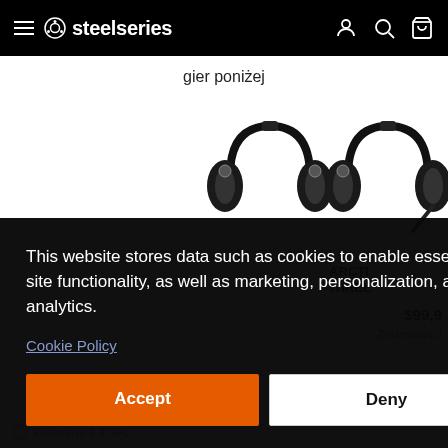steelseries
gier poniżej
[Figure (screenshot): SteelSeries Arctis wireless gaming headset product image]
[Figure (screenshot): SteelSeries Arctis wireless gaming headset (second product) partially visible on right]
ARCTI WIREL
$99,9
Z darmową d
This website stores data such as cookies to enable essential site functionality, as well as marketing, personalization, and analytics.
Cookie Policy
Accept
Deny
Pozostrtyu 2 4 GHz